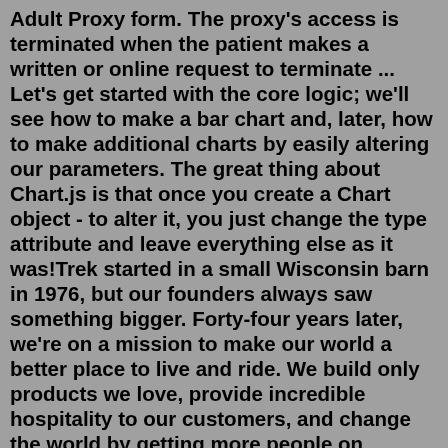Adult Proxy form. The proxy's access is terminated when the patient makes a written or online request to terminate ... Let's get started with the core logic; we'll see how to make a bar chart and, later, how to make additional charts by easily altering our parameters. The great thing about Chart.js is that once you create a Chart object - to alter it, you just change the type attribute and leave everything else as it was!Trek started in a small Wisconsin barn in 1976, but our founders always saw something bigger. Forty-four years later, we're on a mission to make our world a better place to live and ride. We build only products we love, provide incredible hospitality to our customers, and change the world by getting more people on bikes.CONNECT 24/7 WITH BRONSON MYCHART Bronson MyChart is a secure online connection that allows you to access your electronic health information, and by proxy, your family's health information, from any computer, tablet or smart phone.We need some information in order to grant you a MyChart account. Enter your...